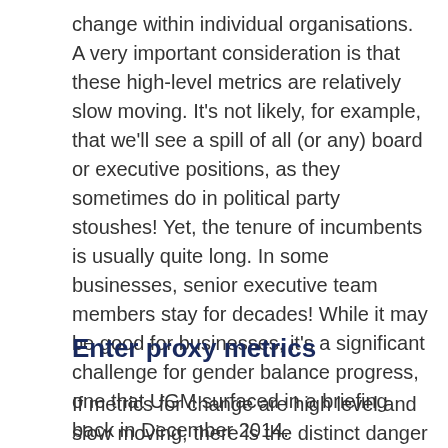change within individual organisations. A very important consideration is that these high-level metrics are relatively slow moving. It's not likely, for example, that we'll see a spill of all (or any) board or executive positions, as they sometimes do in political party stoushes! Yet, the tenure of incumbents is usually quite long. In some businesses, senior executive team members stay for decades! While it may be good for businesses, it's a significant challenge for gender balance progress, one that UGM surfaced in a briefing back in December 2014.
Enter proxy metrics
If metrics for change are high level and slow moving, there is the distinct danger that any